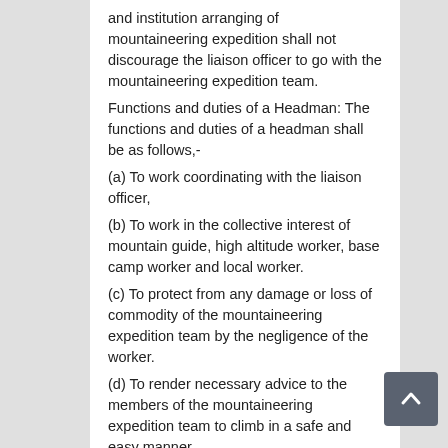and institution arranging of mountaineering expedition shall not discourage the liaison officer to go with the mountaineering expedition team.
Functions and duties of a Headman: The functions and duties of a headman shall be as follows,-
(a) To work coordinating with the liaison officer,
(b) To work in the collective interest of mountain guide, high altitude worker, base camp worker and local worker.
(c) To protect from any damage or loss of commodity of the mountaineering expedition team by the negligence of the worker.
(d) To render necessary advice to the members of the mountaineering expedition team to climb in a safe and easy manner.